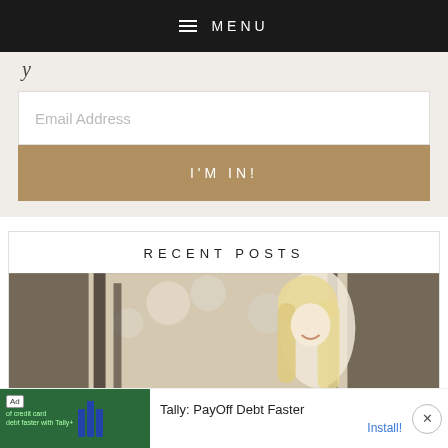MENU
Email Address
I'M IN!
RECENT POSTS
[Figure (photo): Blonde woman smiling outdoors in a winter/forest setting, wearing a light-colored outfit]
Ad — Tally: PayOff Debt Faster — Install!